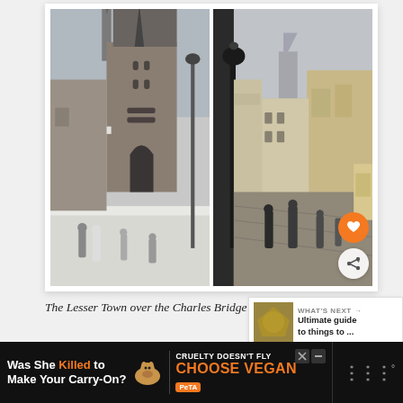[Figure (photo): Two side-by-side photos of Prague. Left: Charles Bridge with snow-covered Lesser Town Bridge Tower, people walking on bridge. Right: Street scene of Lesser Town (Malá Strana) with colorful buildings and pedestrians on cobblestone street.]
The Lesser Town over the Charles Bridge
WHAT'S NEXT → Ultimate guide to things to ...
Was She Killed to Make Your Carry-On? CRUELTY DOESN'T FLY CHOOSE VEGAN PeTA